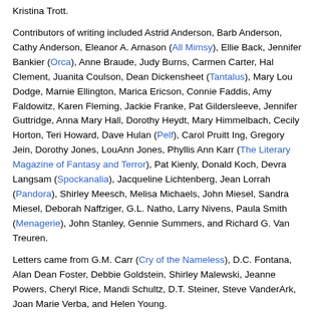Kristina Trott.
Contributors of writing included Astrid Anderson, Barb Anderson, Cathy Anderson, Eleanor A. Arnason (All Mimsy), Ellie Back, Jennifer Bankier (Orca), Anne Braude, Judy Burns, Carmen Carter, Hal Clement, Juanita Coulson, Dean Dickensheet (Tantalus), Mary Lou Dodge, Marnie Ellington, Marica Ericson, Connie Faddis, Amy Faldowitz, Karen Fleming, Jackie Franke, Pat Gildersleeve, Jennifer Guttridge, Anna Mary Hall, Dorothy Heydt, Mary Himmelbach, Cecily Horton, Teri Howard, Dave Hulan (Pelf), Carol Pruitt Ing, Gregory Jein, Dorothy Jones, LouAnn Jones, Phyllis Ann Karr (The Literary Magazine of Fantasy and Terror), Pat Kienly, Donald Koch, Devra Langsam (Spockanalia), Jacqueline Lichtenberg, Jean Lorrah (Pandora), Shirley Meesch, Melisa Michaels, John Miesel, Sandra Miesel, Deborah Naffziger, G.L. Natho, Larry Nivens, Paula Smith (Menagerie), John Stanley, Gennie Summers, and Richard G. Van Treuren.
Letters came from G.M. Carr (Cry of the Nameless), D.C. Fontana, Alan Dean Foster, Debbie Goldstein, Shirley Malewski, Jeanne Powers, Cheryl Rice, Mandi Schultz, D.T. Steiner, Steve VanderArk, Joan Marie Verba, and Helen Young.
In the late 1950s, Ruth Berman co-published All Mimsy with Eleanor Arnason and Ron Whyte. In the early 1960s, she published first NeoLithic and then Dinky Bird, and then later in the decade, Despatch and Inside Star Trek, two of the few fanzines to appear during the original run of the television series, which was followed by T-Negative. In the 1970s, she also